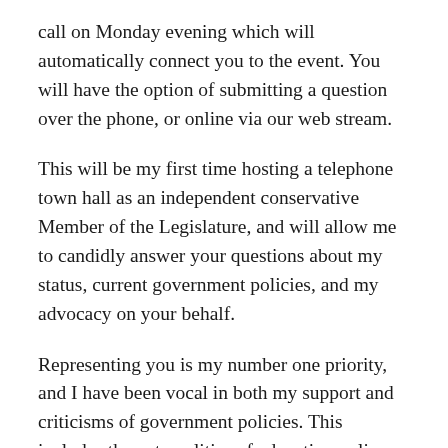call on Monday evening which will automatically connect you to the event. You will have the option of submitting a question over the phone, or online via our web stream.
This will be my first time hosting a telephone town hall as an independent conservative Member of the Legislature, and will allow me to candidly answer your questions about my status, current government policies, and my advocacy on your behalf.
Representing you is my number one priority, and I have been vocal in both my support and criticisms of government policies. This includes the externalities of education policy on our rural